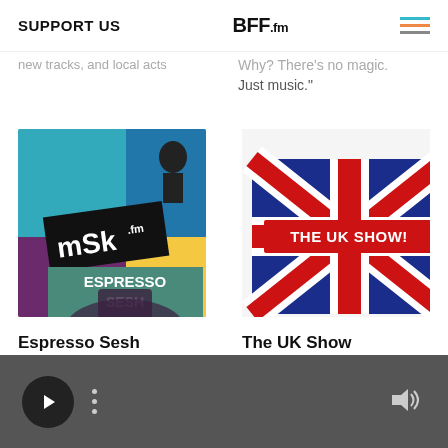SUPPORT US | BFF.fm
new tracks, and local acts
Why? There's no magic. Just music."
[Figure (illustration): Espresso Sesh show artwork - pop art style with mSk.fm logo and teal ESPRESSO SESH banner]
[Figure (illustration): The UK Show artwork - hand-painted style Union Jack flag with THE UK SHOW! text banner]
Espresso Sesh
The UK Show